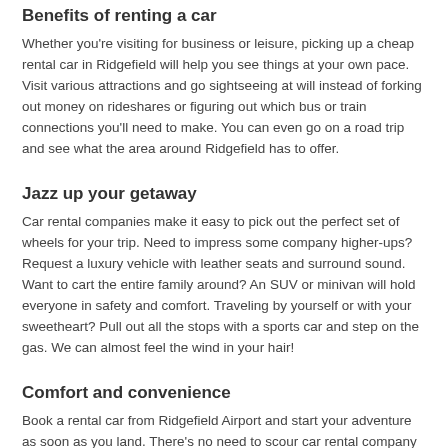Benefits of renting a car
Whether you're visiting for business or leisure, picking up a cheap rental car in Ridgefield will help you see things at your own pace. Visit various attractions and go sightseeing at will instead of forking out money on rideshares or figuring out which bus or train connections you'll need to make. You can even go on a road trip and see what the area around Ridgefield has to offer.
Jazz up your getaway
Car rental companies make it easy to pick out the perfect set of wheels for your trip. Need to impress some company higher-ups? Request a luxury vehicle with leather seats and surround sound. Want to cart the entire family around? An SUV or minivan will hold everyone in safety and comfort. Traveling by yourself or with your sweetheart? Pull out all the stops with a sports car and step on the gas. We can almost feel the wind in your hair!
Comfort and convenience
Book a rental car from Ridgefield Airport and start your adventure as soon as you land. There's no need to scour car rental company websites to find your best ride. Instead, rent a